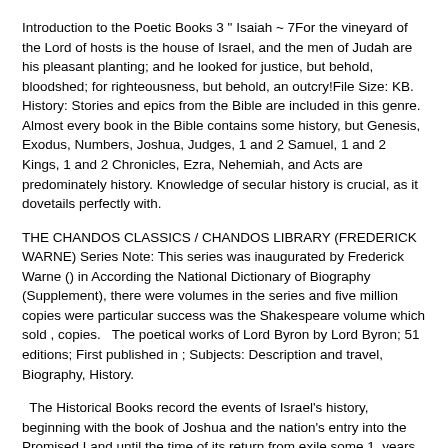Introduction to the Poetic Books 3 " Isaiah ~ 7For the vineyard of the Lord of hosts is the house of Israel, and the men of Judah are his pleasant planting; and he looked for justice, but behold, bloodshed; for righteousness, but behold, an outcry!File Size: KB.   History: Stories and epics from the Bible are included in this genre. Almost every book in the Bible contains some history, but Genesis, Exodus, Numbers, Joshua, Judges, 1 and 2 Samuel, 1 and 2 Kings, 1 and 2 Chronicles, Ezra, Nehemiah, and Acts are predominately history. Knowledge of secular history is crucial, as it dovetails perfectly with.
THE CHANDOS CLASSICS / CHANDOS LIBRARY (FREDERICK WARNE) Series Note: This series was inaugurated by Frederick Warne () in According the National Dictionary of Biography (Supplement), there were volumes in the series and five million copies were particular success was the Shakespeare volume which sold , copies.   The poetical works of Lord Byron by Lord Byron; 51 editions; First published in ; Subjects: Description and travel, Biography, History.
The Historical Books record the events of Israel's history, beginning with the book of Joshua and the nation's entry into the Promised Land until the time of its return from exile some 1, years later. After Joshua, the history books take us through Israel's ups and downs under Judges, its transition to kingship, the division of the nation. Synonym of poetic , Henry Fielding, chapter I, in The History of Tom Jones, a Foundling. In Six Volumes, volume (please specify |volume=I to VI), London: Printed by A[ndrew] Millar, [ ], OCLC , book IV: That our work, therefore, might be in no danger of being likened to the labours of these historians, we have taken every occasion of